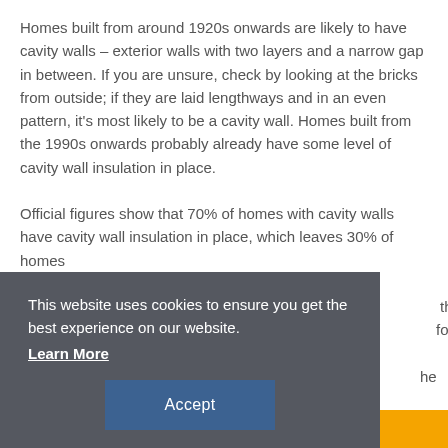Homes built from around 1920s onwards are likely to have cavity walls – exterior walls with two layers and a narrow gap in between. If you are unsure, check by looking at the bricks from outside; if they are laid lengthways and in an even pattern, it's most likely to be a cavity wall. Homes built from the 1990s onwards probably already have some level of cavity wall insulation in place.

Official figures show that 70% of homes with cavity walls have cavity wall insulation in place, which leaves 30% of homes ... y be less ... th ... foam or ... he home ... mmer.
This website uses cookies to ensure you get the best experience on our website. Learn More
Accept